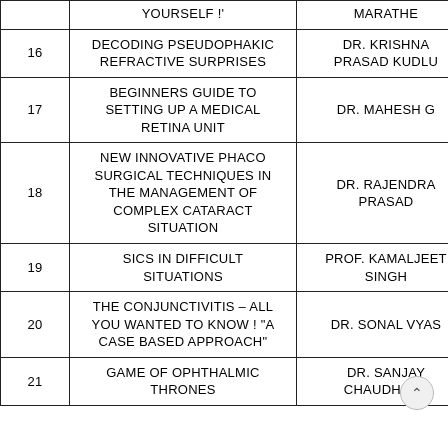|  | TOPIC | SPEAKER |
| --- | --- | --- |
|  | YOURSELF !' | MARATHE |
| 16 | DECODING PSEUDOPHAKIC REFRACTIVE SURPRISES | DR. KRISHNA PRASAD KUDLU |
| 17 | BEGINNERS GUIDE TO SETTING UP A MEDICAL RETINA UNIT | DR. MAHESH G |
| 18 | NEW INNOVATIVE PHACO SURGICAL TECHNIQUES IN THE MANAGEMENT OF COMPLEX CATARACT SITUATION | DR. RAJENDRA PRASAD |
| 19 | SICS IN DIFFICULT SITUATIONS | PROF. KAMALJEET SINGH |
| 20 | THE CONJUNCTIVITIS – ALL YOU WANTED TO KNOW ! "A CASE BASED APPROACH" | DR. SONAL VYAS |
| 21 | GAME OF OPHTHALMIC THRONES | DR. SANJAY CHAUDHARY |